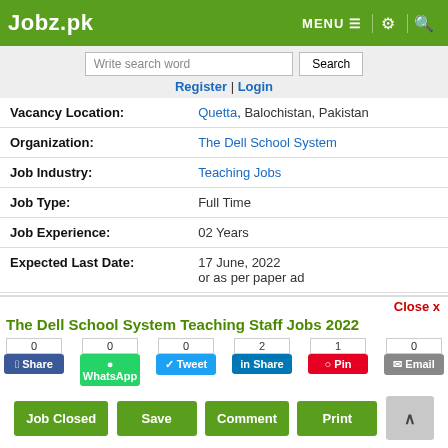Jobz.pk | MENU
Write search word | Search | Register | Login
| Field | Value |
| --- | --- |
| Vacancy Location: | Quetta, Balochistan, Pakistan |
| Organization: | The Dell School System |
| Job Industry: | Teaching Jobs |
| Job Type: | Full Time |
| Job Experience: | 02 Years |
| Expected Last Date: | 17 June, 2022
or as per paper ad |
The Dell School System Teaching Staff Jobs 2022
0 Share | 0 WhatsApp | 0 Tweet | 2 Share | 1 Pin | 0 Email
Job Closed | Save | Comment | Print